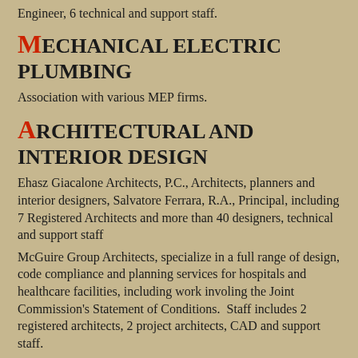Engineer, 6 technical and support staff.
MECHANICAL ELECTRIC PLUMBING
Association with various MEP firms.
ARCHITECTURAL AND INTERIOR DESIGN
Ehasz Giacalone Architects, P.C., Architects, planners and interior designers, Salvatore Ferrara, R.A., Principal, including 7 Registered Architects and more than 40 designers, technical and support staff
McGuire Group Architects, specialize in a full range of design, code compliance and planning services for hospitals and healthcare facilities, including work involing the Joint Commission's Statement of Conditions.  Staff includes 2 registered architects, 2 project architects, CAD and support staff.
ENVIRONMENTAL
Windswept Environmental Group, Inc., Michael O'Reill...